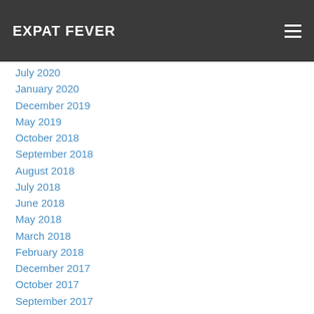EXPAT FEVER
July 2020
January 2020
December 2019
May 2019
October 2018
September 2018
August 2018
July 2018
June 2018
May 2018
March 2018
February 2018
December 2017
October 2017
September 2017
June 2017
April 2017